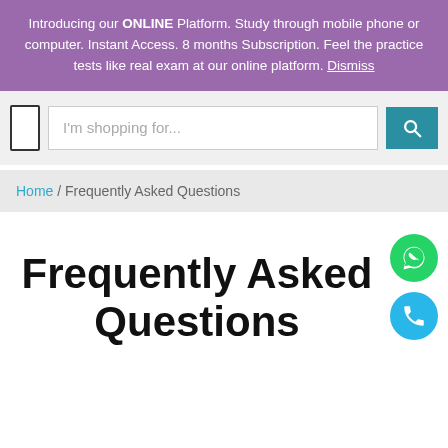Introducing our ONLINE Platform. Study through mobile phone or computer. Instant Access. 8 months Subscription. Feel the practice tests like real exam at our online platform. Dismiss
[Figure (screenshot): Search bar with logo icon on left, text input field with placeholder 'I'm shopping for...' and a teal search button on right]
Home / Frequently Asked Questions
Frequently Asked Questions